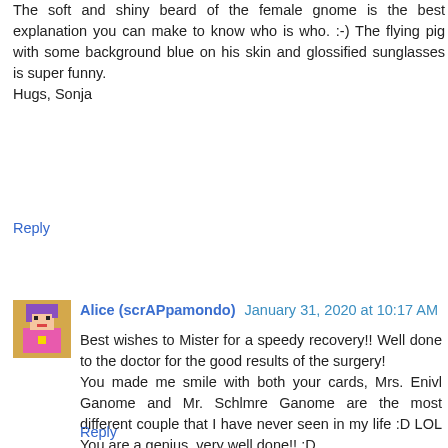The soft and shiny beard of the female gnome is the best explanation you can make to know who is who. :-) The flying pig with some background blue on his skin and glossified sunglasses is super funny.
Hugs, Sonja
Reply
Alice (scrAPpamondo)  January 31, 2020 at 10:17 AM
Best wishes to Mister for a speedy recovery!! Well done to the doctor for the good results of the surgery!
You made me smile with both your cards, Mrs. Enivl Ganome and Mr. Schlmre Ganome are the most different couple that I have never seen in my life :D LOL You are a genius, very well done!! :D
Love the pink and brown(with some light blue) piggy too, how fun he is and his sun glasses are just perfect! Well done to Hammy!! :D
Hugs
Reply